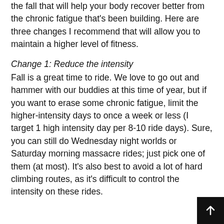the fall that will help your body recover better from the chronic fatigue that's been building. Here are three changes I recommend that will allow you to maintain a higher level of fitness.
Change 1: Reduce the intensity
Fall is a great time to ride. We love to go out and hammer with our buddies at this time of year, but if you want to erase some chronic fatigue, limit the higher-intensity days to once a week or less (I target 1 high intensity day per 8-10 ride days). Sure, you can still do Wednesday night worlds or Saturday morning massacre rides; just pick one of them (at most). It's also best to avoid a lot of hard climbing routes, as it's difficult to control the intensity on these rides.